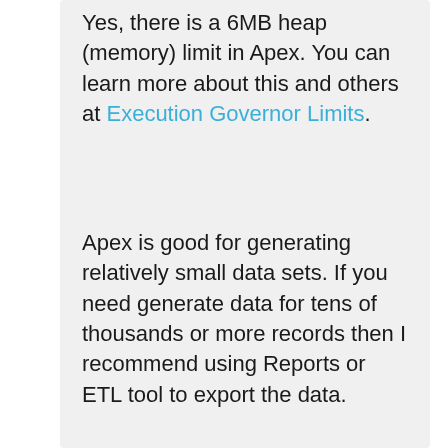Yes, there is a 6MB heap (memory) limit in Apex. You can learn more about this and others at Execution Governor Limits.
Apex is good for generating relatively small data sets. If you need generate data for tens of thousands or more records then I recommend using Reports or ETL tool to export the data.
Doug
★ Like